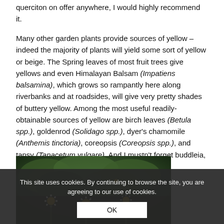querciton on offer anywhere, I would highly recommend it.
Many other garden plants provide sources of yellow – indeed the majority of plants will yield some sort of yellow or beige. The Spring leaves of most fruit trees give yellows and even Himalayan Balsam (Impatiens balsamina), which grows so rampantly here along riverbanks and at roadsides, will give very pretty shades of buttery yellow. Among the most useful readily-obtainable sources of yellow are birch leaves (Betula spp.), goldenrod (Solidago spp.), dyer's chamomile (Anthemis tinctoria), coreopsis (Coreopsis spp.), and tansy (Tanacetum vulgare). And I mustn't forget buddleia, which featured in an earlier post.
[Figure (photo): Photo of dyer's chamomile plant with daisy-like flowers and green foliage]
Dyer's
This site uses cookies. By continuing to browse the site, you are agreeing to our use of cookies.